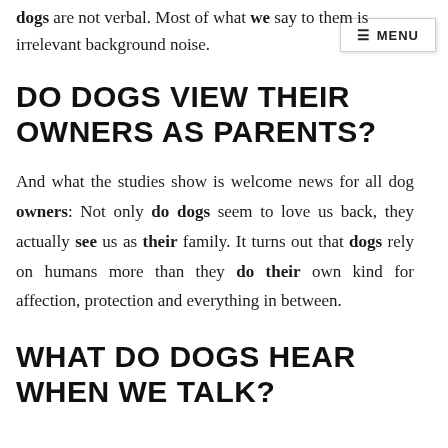dogs are not verbal. Most of what we say to them is irrelevant background noise.
DO DOGS VIEW THEIR OWNERS AS PARENTS?
And what the studies show is welcome news for all dog owners: Not only do dogs seem to love us back, they actually see us as their family. It turns out that dogs rely on humans more than they do their own kind for affection, protection and everything in between.
WHAT DO DOGS HEAR WHEN WE TALK?